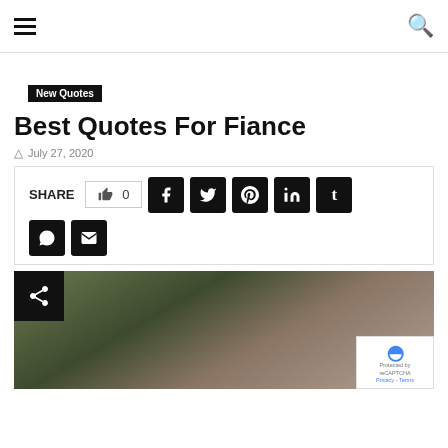≡  🔍
New Quotes
Best Quotes For Fiance
July 27, 2020
SHARE  👍 0  f  🐦  Pinterest  in  t  WhatsApp  ✉
[Figure (photo): A couple embracing outdoors with blurred green trees in background; woman's hand with red nails visible near man's face]